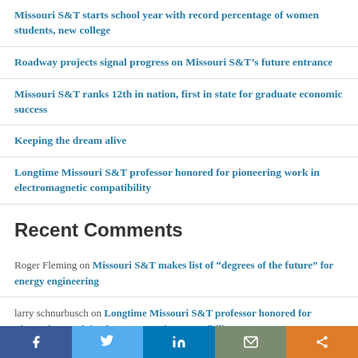Missouri S&T starts school year with record percentage of women students, new college
Roadway projects signal progress on Missouri S&T's future entrance
Missouri S&T ranks 12th in nation, first in state for graduate economic success
Keeping the dream alive
Longtime Missouri S&T professor honored for pioneering work in electromagnetic compatibility
Recent Comments
Roger Fleming on Missouri S&T makes list of “degrees of the future” for energy engineering
larry schnurbusch on Longtime Missouri S&T professor honored for pioneering work in electromagnetic compatibility
David G. Sizemore on Longtime Missouri S&T professor honored for pioneering work in electromagnetic compatibility